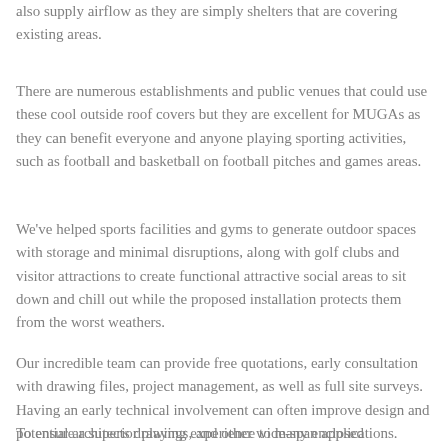also supply airflow as they are simply shelters that are covering existing areas.
There are numerous establishments and public venues that could use these cool outside roof covers but they are excellent for MUGAs as they can benefit everyone and anyone playing sporting activities, such as football and basketball on football pitches and games areas.
We've helped sports facilities and gyms to generate outdoor spaces with storage and minimal disruptions, along with golf clubs and visitor attractions to create functional attractive social areas to sit down and chill out while the proposed installation protects them from the worst weathers.
Our incredible team can provide free quotations, early consultation with drawing files, project management, as well as full site surveys. Having an early technical involvement can often improve design and potential architects drawings, and other wide-span applications.
To ensure a superior playing experience to many enclosed